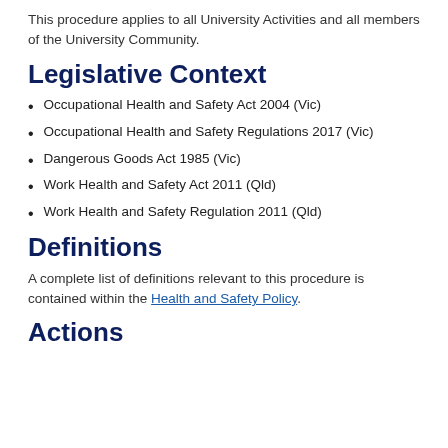This procedure applies to all University Activities and all members of the University Community.
Legislative Context
Occupational Health and Safety Act 2004 (Vic)
Occupational Health and Safety Regulations 2017 (Vic)
Dangerous Goods Act 1985 (Vic)
Work Health and Safety Act 2011 (Qld)
Work Health and Safety Regulation 2011 (Qld)
Definitions
A complete list of definitions relevant to this procedure is contained within the Health and Safety Policy.
Actions